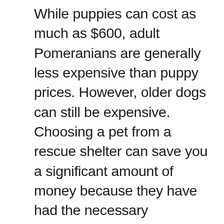While puppies can cost as much as $600, adult Pomeranians are generally less expensive than puppy prices. However, older dogs can still be expensive. Choosing a pet from a rescue shelter can save you a significant amount of money because they have had the necessary vaccinations and neutering. Adoption fees are usually between $200 and $400, although older dogs may be cheaper than puppies. The adoption fee will often include microchipping, vaccination, and early socialization.